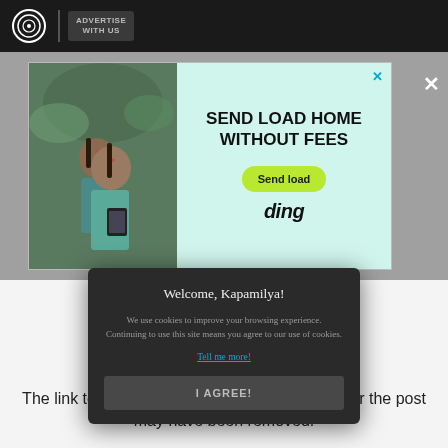ADVERTISE WITH US
[Figure (screenshot): Advertisement banner: photo of two children looking at a phone, with text 'SEND LOAD HOME WITHOUT FEES', a 'Send load' button, and 'ding' brand logo on a light green background. Close (X) button in corner.]
Welcome, Kapamilya!

We use cookies to improve your browsing experience.
Continuing to use this site means you agree to our use of cookies.

Tell me more!

I AGREE!
The link to this photo or video may be broken, or the post may have been removed.